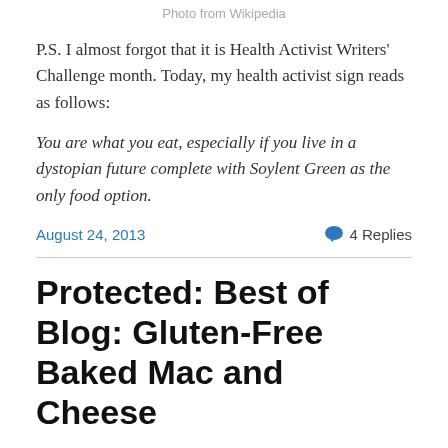Photo from Wikipedia
P.S. I almost forgot that it is Health Activist Writers' Challenge month. Today, my health activist sign reads as follows:
You are what you eat, especially if you live in a dystopian future complete with Soylent Green as the only food option.
August 24, 2013   4 Replies
Protected: Best of Blog: Gluten-Free Baked Mac and Cheese